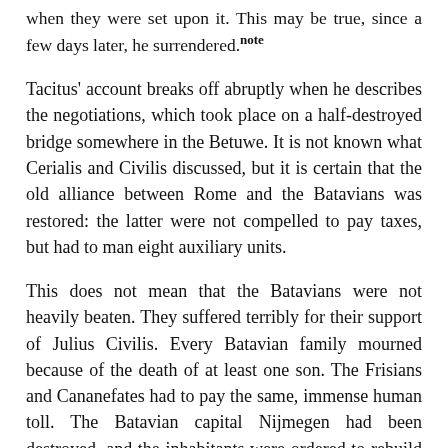when they were set upon it. This may be true, since a few days later, he surrendered. note
Tacitus’ account breaks off abruptly when he describes the negotiations, which took place on a half-destroyed bridge somewhere in the Betuwe. It is not known what Cerialis and Civilis discussed, but it is certain that the old alliance between Rome and the Batavians was restored: the latter were not compelled to pay taxes, but had to man eight auxiliary units.
This does not mean that the Batavians were not heavily beaten. They suffered terribly for their support of Julius Civilis. Every Batavian family mourned because of the death of at least one son. The Frisians and Cananefates had to pay the same, immense human toll. The Batavian capital Nijmegen had been destroyed, and the inhabitants were ordered to rebuild it two kilometers downstream on a place where it could not be defended. The Second Legion Adiutrix took over the old site, although it was replaced